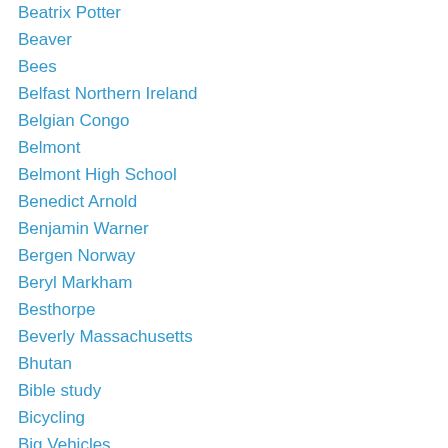Beatrix Potter
Beaver
Bees
Belfast Northern Ireland
Belgian Congo
Belmont
Belmont High School
Benedict Arnold
Benjamin Warner
Bergen Norway
Beryl Markham
Besthorpe
Beverly Massachusetts
Bhutan
Bible study
Bicycling
Big Vehicles
Bike Racing
Bingo
Biography